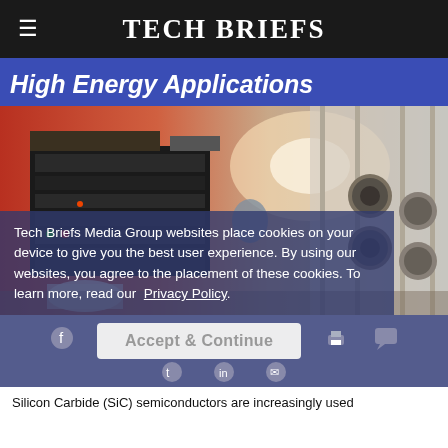Tech Briefs
High Energy Applications
[Figure (photo): Laboratory scene showing scientific/industrial equipment with a person working near large white cylindrical structures and control panels, illuminated with warm red/orange lighting on the left side.]
Tech Briefs Media Group websites place cookies on your device to give you the best user experience. By using our websites, you agree to the placement of these cookies. To learn more, read our Privacy Policy.
Accept & Continue
Silicon Carbide (SiC) semiconductors are increasingly used...